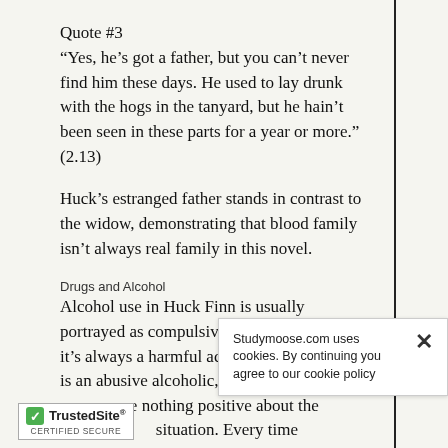Quote #3
“Yes, he’s got a father, but you can’t never find him these days. He used to lay drunk with the hogs in the tanyard, but he hain’t been seen in these parts for a year or more.” (2.13)
Huck’s estranged father stands in contrast to the widow, demonstrating that blood family isn’t always real family in this novel.
Drugs and Alcohol
Alcohol use in Huck Finn is usually portrayed as compulsive and excessive, and it’s always a harmful activity. Huck’s father is an abusive alcoholic, and therefore his son can see nothing positive about the situation. Every time the novel,